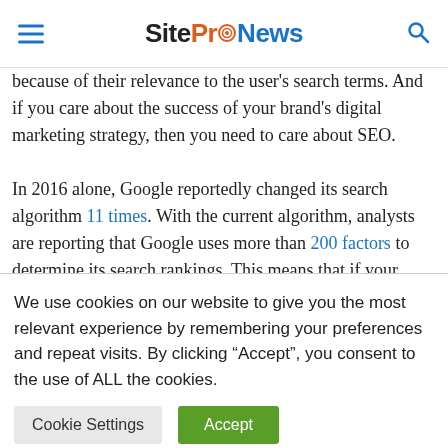SiteProNews
because of their relevance to the user's search terms. And if you care about the success of your brand's digital marketing strategy, then you need to care about SEO.
In 2016 alone, Google reportedly changed its search algorithm 11 times. With the current algorithm, analysts are reporting that Google uses more than 200 factors to determine its search rankings. This means that if your brand wants to
We use cookies on our website to give you the most relevant experience by remembering your preferences and repeat visits. By clicking “Accept”, you consent to the use of ALL the cookies.